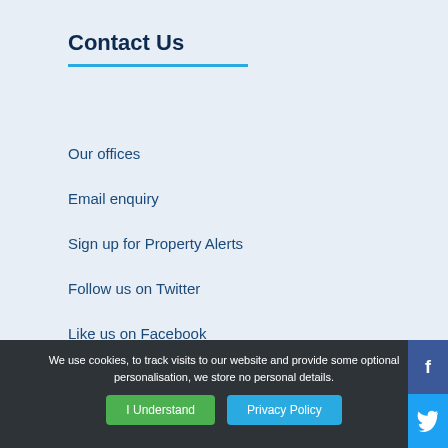Contact Us
Our offices
Email enquiry
Sign up for Property Alerts
Follow us on Twitter
Like us on Facebook
Frost Blog
We use cookies, to track visits to our website and provide some optional personalisation, we store no personal details. I Understand  Privacy Policy